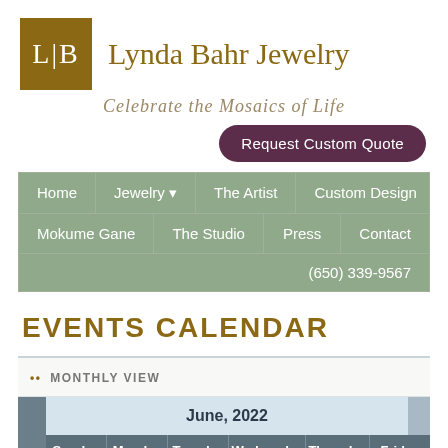[Figure (logo): Lynda Bahr Jewelry logo: olive/gold square with L|B text, followed by brand name in gold serif font]
Celebrate the Mosaics of Life
Request Custom Quote
Home | Jewelry ▼ | The Artist | Custom Design | Mokume Gane | The Studio | Press | Contact | (650) 339-9567
EVENTS CALENDAR
•• MONTHLY VIEW
| Sunday | Monday | Tuesday | Wednesday | Thursday | Friday |
| --- | --- | --- | --- | --- | --- |